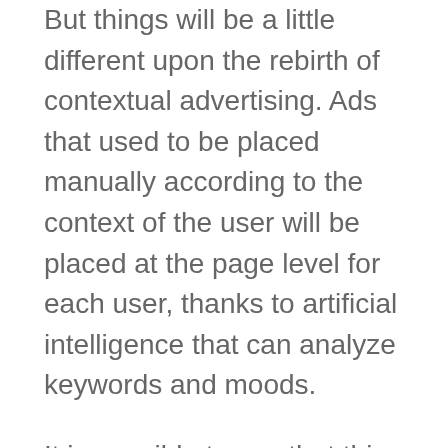But things will be a little different upon the rebirth of contextual advertising. Ads that used to be placed manually according to the context of the user will be placed at the page level for each user, thanks to artificial intelligence that can analyze keywords and moods.
It is possible to say that this change is beneficial for publishers. In this way, ads that are not related to the content on the screen will not be shown to users. This way, publishers will be able to offer their users a better experience.
Advertisers and Publishers: Getting Closer
In this way, they will also with out...